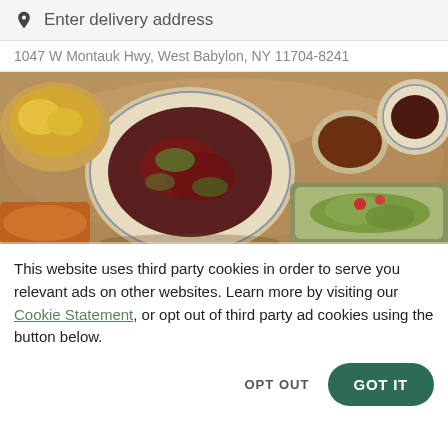Enter delivery address
1047 W Montauk Hwy, West Babylon, NY 11704-8241
[Figure (photo): Overhead photo of Asian food dishes on a brown cloth background, featuring a large bowl of stir-fried meat with vegetables in the center, smaller bowls with sauce and other dishes around it]
This website uses third party cookies in order to serve you relevant ads on other websites. Learn more by visiting our Cookie Statement, or opt out of third party ad cookies using the button below.
OPT OUT
GOT IT